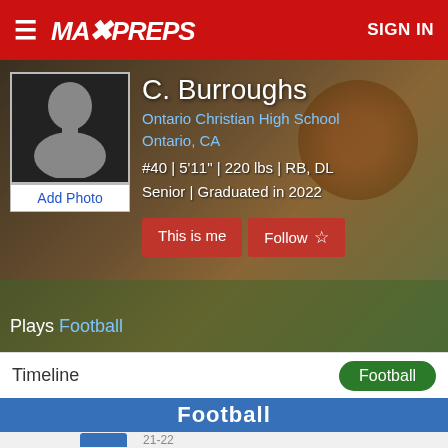MAXPREPS  SIGN IN
[Figure (photo): Silhouette placeholder profile photo for C. Burroughs]
C. Burroughs
Ontario Christian High School
Ontario, CA
#40 | 5'11" | 220 lbs | RB, DL
Senior | Graduated in 2022
Add Photo
This is me   Follow ☆
Plays Football
Timeline
Football
Football
21-22